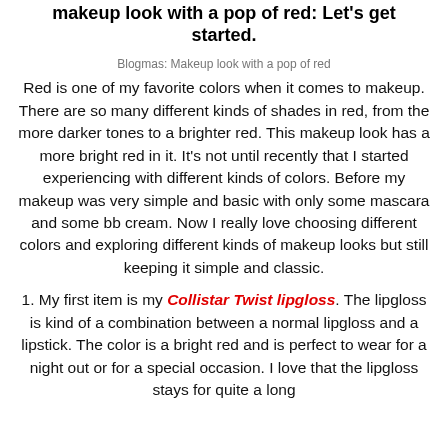makeup look with a pop of red: Let's get started.
[Figure (photo): Broken image placeholder: Blogmas: Makeup look with a pop of red]
Red is one of my favorite colors when it comes to makeup. There are so many different kinds of shades in red, from the more darker tones to a brighter red. This makeup look has a more bright red in it. It's not until recently that I started experiencing with different kinds of colors. Before my makeup was very simple and basic with only some mascara and some bb cream. Now I really love choosing different colors and exploring different kinds of makeup looks but still keeping it simple and classic.
1. My first item is my Collistar Twist lipgloss. The lipgloss is kind of a combination between a normal lipgloss and a lipstick. The color is a bright red and is perfect to wear for a night out or for a special occasion. I love that the lipgloss stays for quite a long